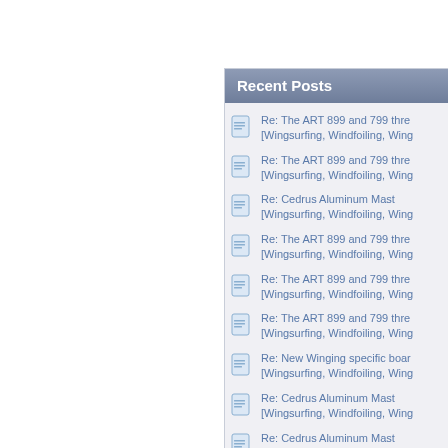Recent Posts
Re: The ART 899 and 799 thre [Wingsurfing, Windfoiling, Wing
Re: The ART 899 and 799 thre [Wingsurfing, Windfoiling, Wing
Re: Cedrus Aluminum Mast [Wingsurfing, Windfoiling, Wing
Re: The ART 899 and 799 thre [Wingsurfing, Windfoiling, Wing
Re: The ART 899 and 799 thre [Wingsurfing, Windfoiling, Wing
Re: The ART 899 and 799 thre [Wingsurfing, Windfoiling, Wing
Re: New Winging specific boar [Wingsurfing, Windfoiling, Wing
Re: Cedrus Aluminum Mast [Wingsurfing, Windfoiling, Wing
Re: Cedrus Aluminum Mast [Wingsurfing, Windfoiling, Wing
Re: New to Wingfoiling looking